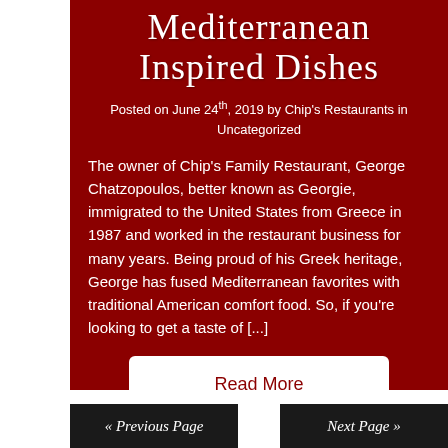Mediterranean Inspired Dishes
Posted on June 24th, 2019 by Chip's Restaurants in Uncategorized
The owner of Chip's Family Restaurant, George Chatzopoulos, better known as Georgie, immigrated to the United States from Greece in 1987 and worked in the restaurant business for many years. Being proud of his Greek heritage, George has fused Mediterranean favorites with traditional American comfort food. So, if you're looking to get a taste of [...]
Read More
« Previous Page
Next Page »